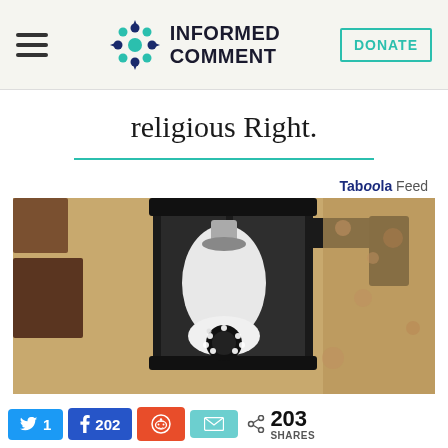Informed Comment
religious Right.
[Figure (photo): A security camera shaped like a light bulb installed inside a black outdoor wall lantern fixture mounted on a textured stucco wall.]
Tab00la Feed
Twitter 1  Facebook 202  Reddit  Email  < 203 SHARES